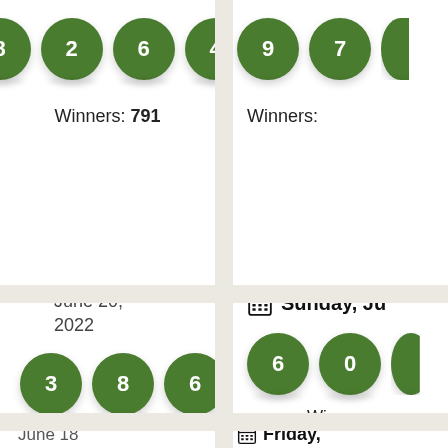[Figure (infographic): Lottery balls showing numbers 8, 2, 6, 4 in green circles]
Winners: 791
[Figure (infographic): Lottery balls showing numbers 9, 7 (partially visible) in green circles]
Winners:
Monday, June 20, 2022
[Figure (infographic): Lottery balls showing numbers 3, 8, 6, 8 in green circles]
Winners: 106
Sunday, Ju...
[Figure (infographic): Lottery balls showing numbers 6, 0 (partially visible) in green circles]
Winners:
June 18
Friday,